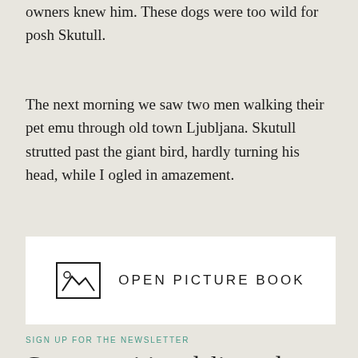owners knew him. These dogs were too wild for posh Skutull.
The next morning we saw two men walking their pet emu through old town Ljubljana. Skutull strutted past the giant bird, hardly turning his head, while I ogled in amazement.
[Figure (illustration): A box with a mountain/landscape icon and the text OPEN PICTURE BOOK in uppercase letters]
SIGN UP FOR THE NEWSLETTER
Get my writing delivered to your inbox